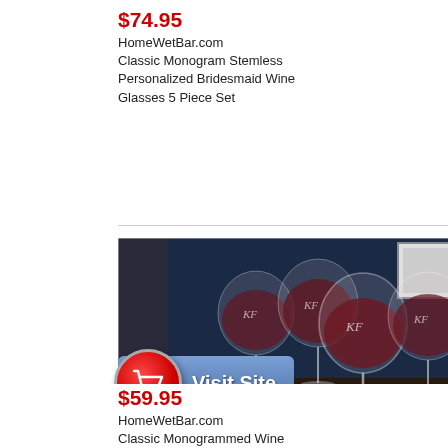$74.95
HomeWetBar.com
Classic Monogram Stemless Personalized Bridesmaid Wine Glasses 5 Piece Set
[Figure (photo): Photo of four stemless wine glasses with monogram 'KF' etched on them, filled with red wine, placed on a dark wooden table with cheese and a wine bottle in the background.]
[Figure (other): Visit Site button with red shopping cart icon and blue gradient background]
$59.95
HomeWetBar.com
Classic Monogrammed Wine